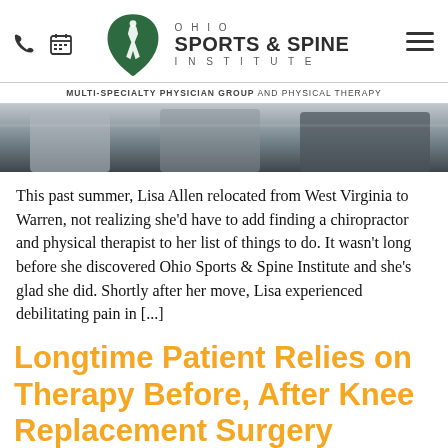[Figure (logo): Ohio Sports & Spine Institute logo with green Ohio state shape graphic and text: OHIO SPORTS & SPINE INSTITUTE, MULTI-SPECIALTY PHYSICIAN GROUP AND PHYSICAL THERAPY]
[Figure (photo): Partial photo of people, cropped at top, showing clothing/torsos in a clinical or casual setting]
This past summer, Lisa Allen relocated from West Virginia to Warren, not realizing she'd have to add finding a chiropractor and physical therapist to her list of things to do. It wasn't long before she discovered Ohio Sports & Spine Institute and she's glad she did. Shortly after her move, Lisa experienced debilitating pain in [...]
Longtime Patient Relies on Therapy Before, After Knee Replacement Surgery